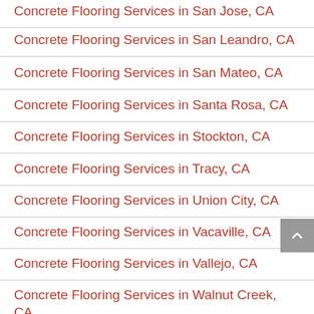Concrete Flooring Services in San Jose, CA
Concrete Flooring Services in San Leandro, CA
Concrete Flooring Services in San Mateo, CA
Concrete Flooring Services in Santa Rosa, CA
Concrete Flooring Services in Stockton, CA
Concrete Flooring Services in Tracy, CA
Concrete Flooring Services in Union City, CA
Concrete Flooring Services in Vacaville, CA
Concrete Flooring Services in Vallejo, CA
Concrete Flooring Services in Walnut Creek, CA
Concrete Flooring Services in West Sacramento, CA
Concrete Flooring Services in Woodland, CA
Concrete Flooring Services in Yuba City, CA